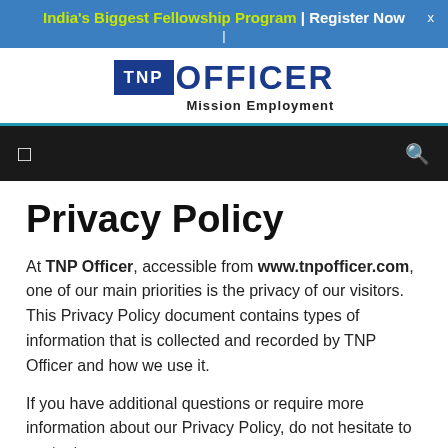India's Biggest Fellowship Program | Register Now
[Figure (logo): TNP Officer logo with 'Mission Employment' subtitle]
☰ 🔍
Privacy Policy
At TNP Officer, accessible from www.tnpofficer.com, one of our main priorities is the privacy of our visitors. This Privacy Policy document contains types of information that is collected and recorded by TNP Officer and how we use it.
If you have additional questions or require more information about our Privacy Policy, do not hesitate to contact us.
This Privacy Policy applies only to our online activities and is